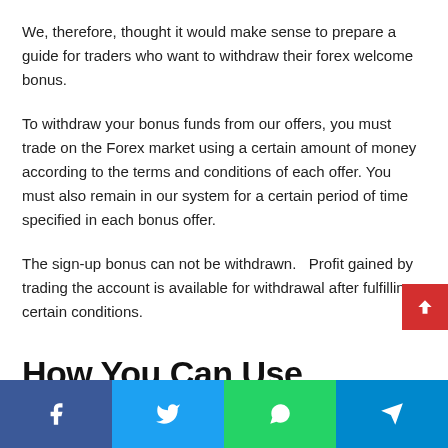We, therefore, thought it would make sense to prepare a guide for traders who want to withdraw their forex welcome bonus.
To withdraw your bonus funds from our offers, you must trade on the Forex market using a certain amount of money according to the terms and conditions of each offer. You must also remain in our system for a certain period of time specified in each bonus offer.
The sign-up bonus can not be withdrawn.   Profit gained by trading the account is available for withdrawal after fulfilling certain conditions.
How You Can Use Deposit Bonuses to Help You Choose a